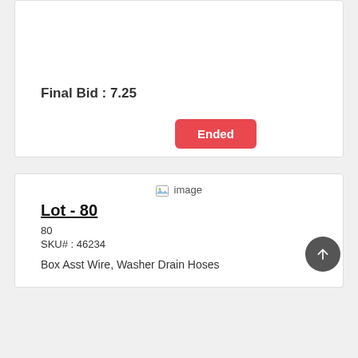Final Bid : 7.25
Ended
[Figure (other): image placeholder icon with alt text 'image']
Lot - 80
80
SKU# : 46234
Box Asst Wire, Washer Drain Hoses